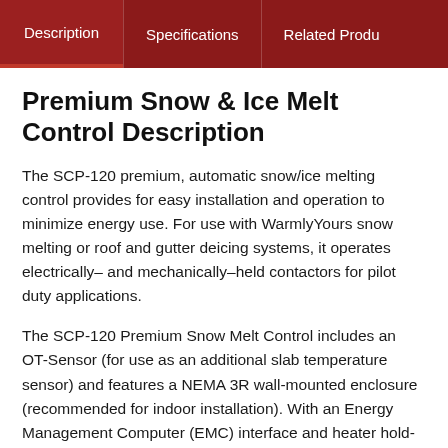Description | Specifications | Related Products
Premium Snow & Ice Melt Control Description
The SCP-120 premium, automatic snow/ice melting control provides for easy installation and operation to minimize energy use. For use with WarmlyYours snow melting or roof and gutter deicing systems, it operates electrically- and mechanically-held contactors for pilot duty applications.
The SCP-120 Premium Snow Melt Control includes an OT-Sensor (for use as an additional slab temperature sensor) and features a NEMA 3R wall-mounted enclosure (recommended for indoor installation). With an Energy Management Computer (EMC) interface and heater hold-on and test capabilities, the unit is rated for 120/240 VAC and more...